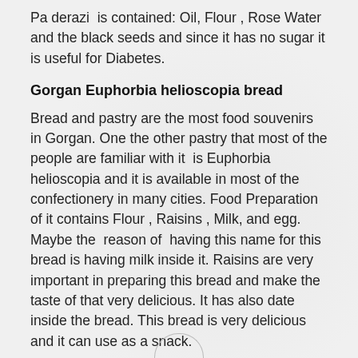Pa derazi  is contained: Oil, Flour , Rose Water and the black seeds and since it has no sugar it is useful for Diabetes.
Gorgan Euphorbia helioscopia bread
Bread and pastry are the most food souvenirs in Gorgan. One the other pastry that most of the people are familiar with it  is Euphorbia helioscopia and it is available in most of the confectionery in many cities. Food Preparation of it contains Flour , Raisins , Milk, and egg. Maybe the  reason of  having this name for this bread is having milk inside it. Raisins are very important in preparing this bread and make the taste of that very delicious. It has also date inside the bread. This bread is very delicious and it can use as a snack.